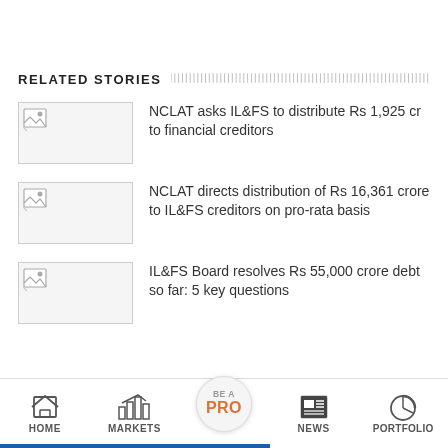RELATED STORIES
NCLAT asks IL&FS to distribute Rs 1,925 cr to financial creditors
NCLAT directs distribution of Rs 16,361 crore to IL&FS creditors on pro-rata basis
IL&FS Board resolves Rs 55,000 crore debt so far: 5 key questions
HOME | MARKETS | BE A PRO | NEWS | PORTFOLIO